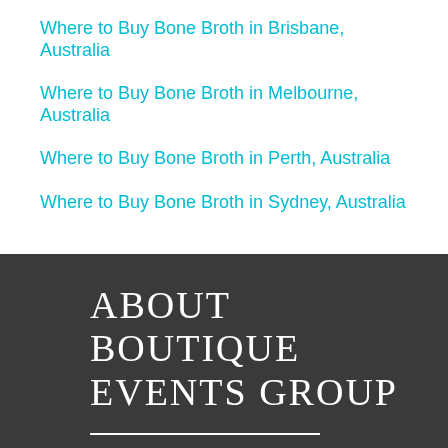Where to Buy Bone Broth in Brisbane, Australia
Where to Buy Bone Broth in Melbourne, Australia
Where to Buy Bone Broth in Perth, Australia
Where to Buy Bone Broth in Sydney, Australia
ABOUT BOUTIQUE EVENTS GROUP
We're a bunch of passionate events, weddings lifestyle, culture and business bloggers spreading love and